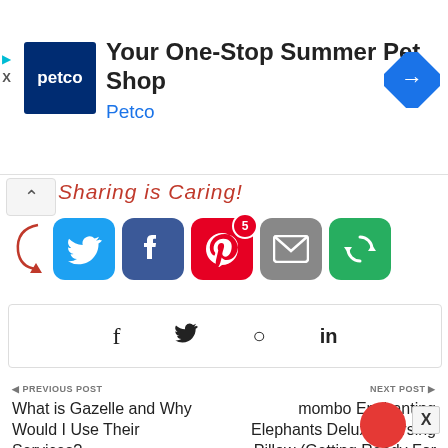[Figure (screenshot): Petco advertisement banner: Petco logo (dark blue square with 'petco' in white), headline 'Your One-Stop Summer Pet Shop', subtext 'Petco' in blue, and a blue direction sign arrow icon on the right. Small play and X icons on the left edge.]
Sharing is Caring!
[Figure (infographic): Row of social share buttons: Twitter (blue bird), Facebook (blue f), Pinterest (red P with badge '5'), Email (gray envelope), More (green circular arrows)]
[Figure (infographic): Share bar with icons: f (Facebook), bird (Twitter), P (Pinterest), in (LinkedIn)]
◄ PREVIOUS POST
What is Gazelle and Why Would I Use Their Services?
NEXT POST ►
mombo Enchanting Elephants Deluxe Nursing Pillow (Getting Ready For Baby Gift